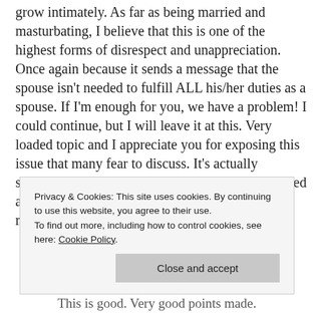grow intimately. As far as being married and masturbating, I believe that this is one of the highest forms of disrespect and unappreciation. Once again because it sends a message that the spouse isn't needed to fulfill ALL his/her duties as a spouse. If I'm enough for you, we have a problem! I could continue, but I will leave it at this. Very loaded topic and I appreciate you for exposing this issue that many fear to discuss. It's actually something I believe we all ponder or have pondered at some point in time…women just as much as men.
Privacy & Cookies: This site uses cookies. By continuing to use this website, you agree to their use. To find out more, including how to control cookies, see here: Cookie Policy
Close and accept
This is good. Very good points made.